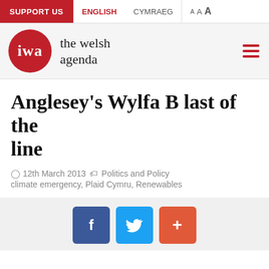SUPPORT US | ENGLISH | CYMRAEG | A A A
[Figure (logo): IWA - the welsh agenda logo with red circle and hamburger menu]
Anglesey's Wylfa B last of the line
12th March 2013 | Politics and Policy | climate emergency, Plaid Cymru, Renewables
[Figure (infographic): Social sharing buttons: Facebook (f), Twitter (bird), and share (+) buttons]